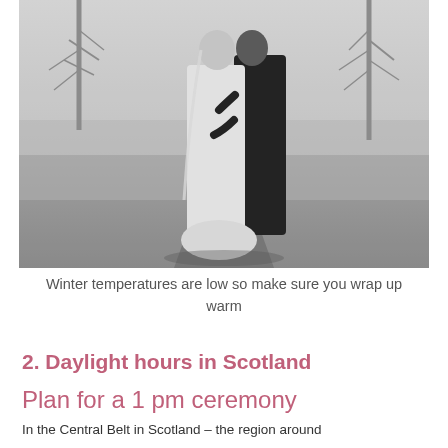[Figure (photo): Black and white photograph of a couple embracing outdoors in winter. The bride is wearing a white dress and the groom a dark suit. Bare trees are visible in the misty background.]
Winter temperatures are low so make sure you wrap up warm
2. Daylight hours in Scotland
Plan for a 1 pm ceremony
In the Central Belt in Scotland – the region around